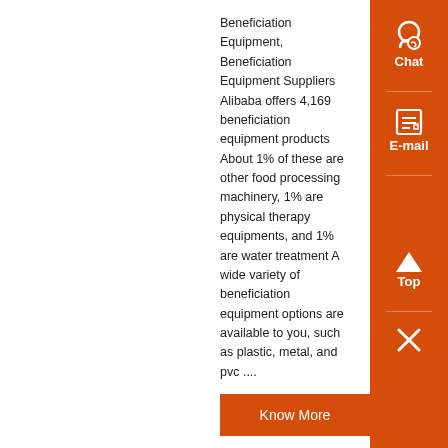Beneficiation Equipment, Beneficiation Equipment Suppliers Alibaba offers 4,169 beneficiation equipment products About 1% of these are other food processing machinery, 1% are physical therapy equipments, and 1% are water treatment A wide variety of beneficiation equipment options are available to you, such as plastic, metal, and pvc ....
Know More
Home - Crushers, Ball Mills, Flotation Cells, Lab and ,
17-02-2019· Complete set of Graphite Beneficiation Equipment usually includes jaw crusher, ball mill, classifier, rod mills, agitation tanks, flotation machine, rotary dryers etc ZJH minerals as more than 30 years of professional mineral beneficiation equipment manufacturers, according to customer's requirementsand actual situation, can provide ore testing, ore dressing experiments, process design, a ....
Know More